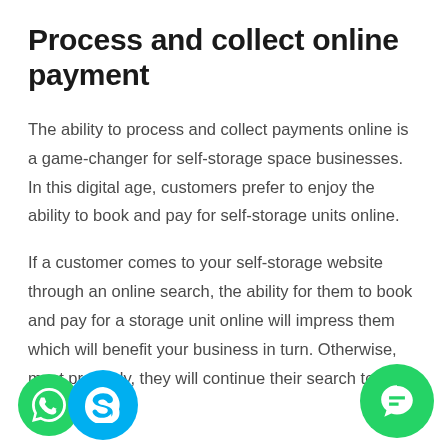Process and collect online payment
The ability to process and collect payments online is a game-changer for self-storage space businesses. In this digital age, customers prefer to enjoy the ability to book and pay for self-storage units online.
If a customer comes to your self-storage website through an online search, the ability for them to book and pay for a storage unit online will impress them which will benefit your business in turn. Otherwise, most probably, they will continue their search to book your